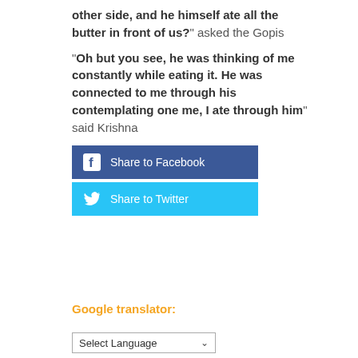other side, and he himself ate all the butter in front of us?" asked the Gopis
“Oh but you see, he was thinking of me constantly while eating it. He was connected to me through his contemplating one me, I ate through him” said Krishna
[Figure (infographic): Share to Facebook button (blue) and Share to Twitter button (cyan) with social media icons]
Google translator:
[Figure (screenshot): Select Language dropdown box with chevron arrow]